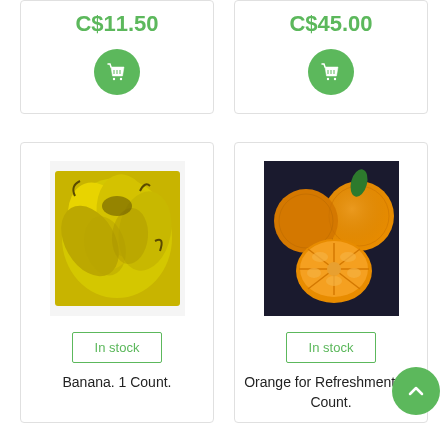C$11.50
[Figure (illustration): Green circular add-to-cart button with shopping bag icon]
C$45.00
[Figure (illustration): Green circular add-to-cart button with shopping bag icon]
[Figure (photo): Photo of yellow bananas]
In stock
Banana. 1 Count.
[Figure (photo): Photo of oranges including a halved orange]
In stock
Orange for Refreshments. 1 Count.
[Figure (illustration): Green circular back-to-top arrow button]